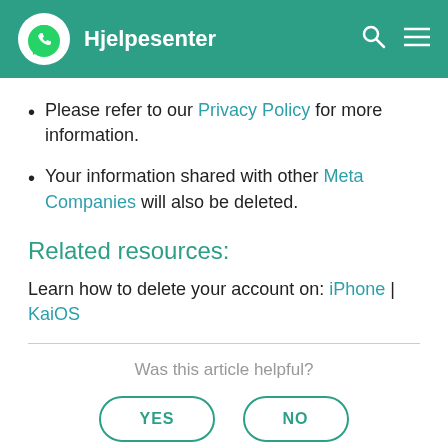Hjelpesenter
Please refer to our Privacy Policy for more information.
Your information shared with other Meta Companies will also be deleted.
Related resources:
Learn how to delete your account on: iPhone | KaiOS
Was this article helpful?
YES  NO